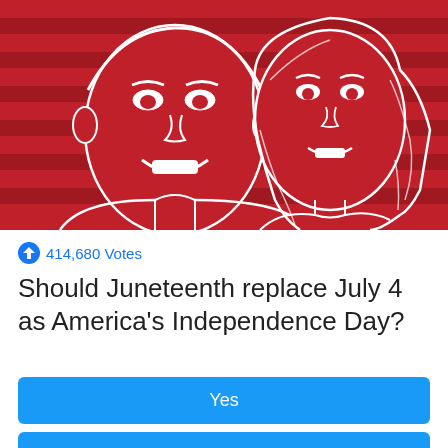[Figure (illustration): Red and white illustration of two people (a man and a woman) drawn in a sketch/line art style against an American flag background with red stripes and white stars]
414,680 Votes
Should Juneteenth replace July 4 as America's Independence Day?
Yes
No
Not sure